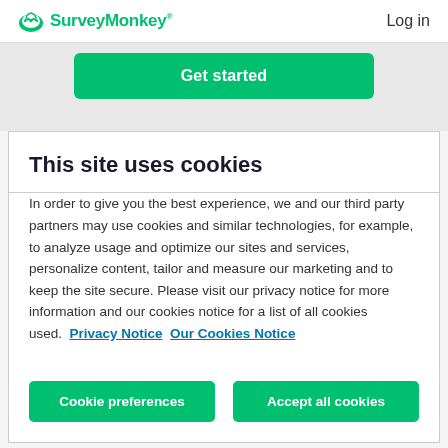SurveyMonkey® Log in
Get started
This site uses cookies
In order to give you the best experience, we and our third party partners may use cookies and similar technologies, for example, to analyze usage and optimize our sites and services, personalize content, tailor and measure our marketing and to keep the site secure. Please visit our privacy notice for more information and our cookies notice for a list of all cookies used.  Privacy Notice  Our Cookies Notice
Cookie preferences
Accept all cookies